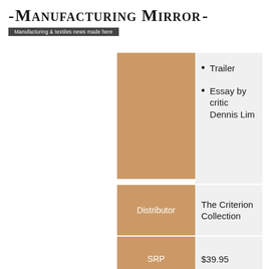Manufacturing Mirror — Manufacturing & textiles news made here
|  |  |
| --- | --- |
|  | Trailer
Essay by critic Dennis Lim |
| Distributor | The Criterion Collection |
| SRP | $39.95 |
| Release Date | February 19, 2019 |